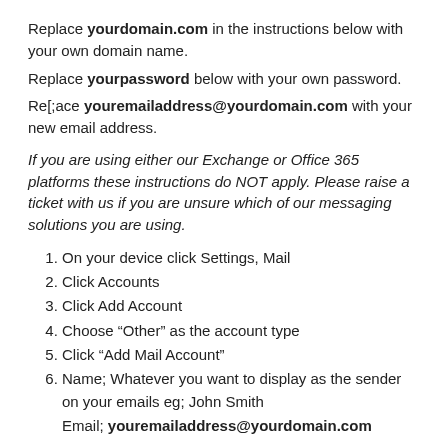Replace yourdomain.com in the instructions below with your own domain name.
Replace yourpassword below with your own password.
Re[;ace youremailaddress@yourdomain.com with your new email address.
If you are using either our Exchange or Office 365 platforms these instructions do NOT apply. Please raise a ticket with us if you are unsure which of our messaging solutions you are using.
On your device click Settings, Mail
Click Accounts
Click Add Account
Choose “Other” as the account type
Click “Add Mail Account”
Name; Whatever you want to display as the sender on your emails eg; John Smith
Email; youremailaddress@yourdomain.com